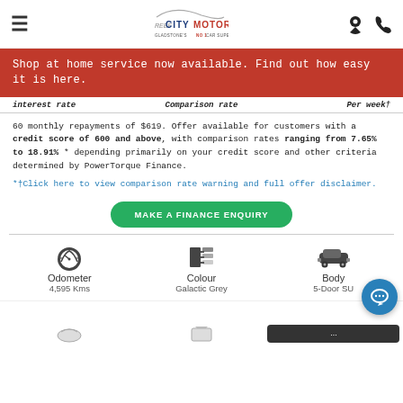Reef City Motors - Gladstone's No 1 Car Superstore
Shop at home service now available. Find out how easy it is here.
Interest Rate   Comparison Rate   Per Week†
60 monthly repayments of $619. Offer available for customers with a credit score of 600 and above, with comparison rates ranging from 7.65% to 18.91% * depending primarily on your credit score and other criteria determined by PowerTorque Finance.
*†Click here to view comparison rate warning and full offer disclaimer.
MAKE A FINANCE ENQUIRY
Odometer
4,595 Kms
Colour
Galactic Grey
Body
5-Door SUV